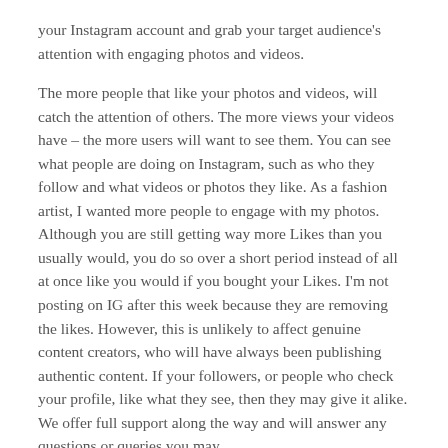your Instagram account and grab your target audience's attention with engaging photos and videos.

The more people that like your photos and videos, will catch the attention of others. The more views your videos have – the more users will want to see them. You can see what people are doing on Instagram, such as who they follow and what videos or photos they like. As a fashion artist, I wanted more people to engage with my photos. Although you are still getting way more Likes than you usually would, you do so over a short period instead of all at once like you would if you bought your Likes. I'm not posting on IG after this week because they are removing the likes. However, this is unlikely to affect genuine content creators, who will have always been publishing authentic content. If your followers, or people who check your profile, like what they see, then they may give it alike. We offer full support along the way and will answer any questions or queries you may